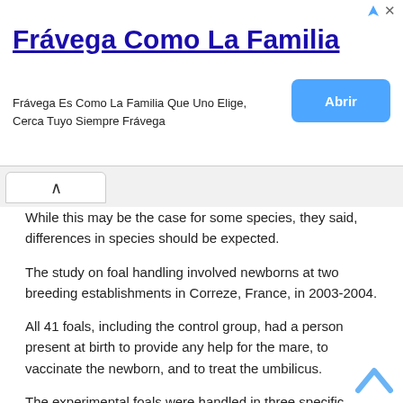[Figure (other): Advertisement banner for Frávega Como La Familia with title link, subtitle text, and blue Abrir button]
While this may be the case for some species, they said, differences in species should be expected.
The study on foal handling involved newborns at two breeding establishments in Correze, France, in 2003-2004.
All 41 foals, including the control group, had a person present at birth to provide any help for the mare, to vaccinate the newborn, and to treat the umbilicus.
The experimental foals were handled in three specific ways and their later reaction to people compared with the control group of foals, which received no additional contact other than routine management.